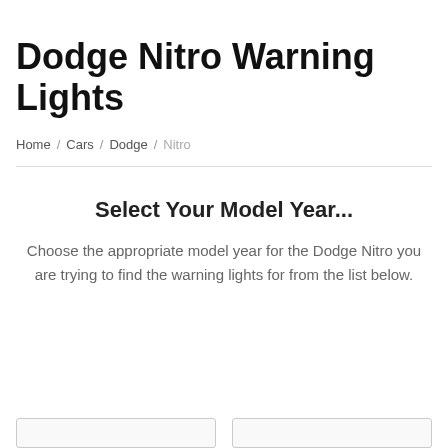Dodge Nitro Warning Lights
Home / Cars / Dodge / Nitro
Select Your Model Year...
Choose the appropriate model year for the Dodge Nitro you are trying to find the warning lights for from the list below.